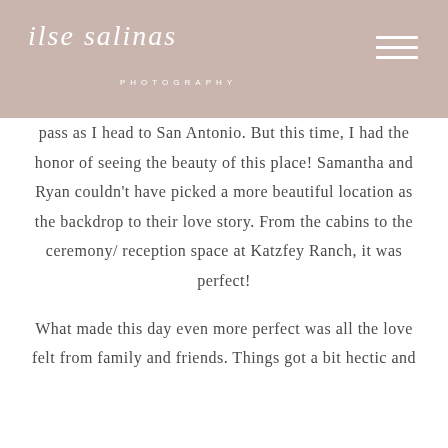ilse salinas PHOTOGRAPHY
pass as I head to San Antonio. But this time, I had the honor of seeing the beauty of this place! Samantha and Ryan couldn't have picked a more beautiful location as the backdrop to their love story. From the cabins to the ceremony/reception space at Katzfey Ranch, it was perfect!
What made this day even more perfect was all the love felt from family and friends. Things got a bit hectic and